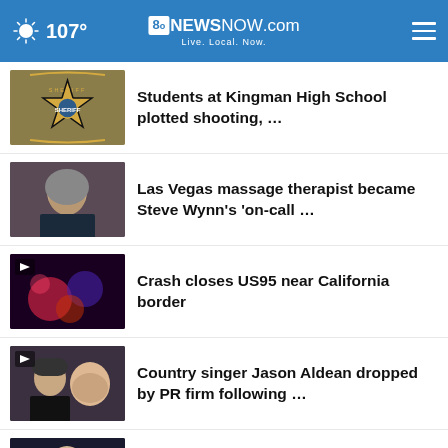107° | 8NewsNow.com | Live. Local. Now.
Students at Kingman High School plotted shooting, …
Las Vegas massage therapist became Steve Wynn's 'on-call …
Crash closes US95 near California border
Country singer Jason Aldean dropped by PR firm following …
Biden to hecklers at Philadelphia primetime speech: 'They're …
More Stories ›